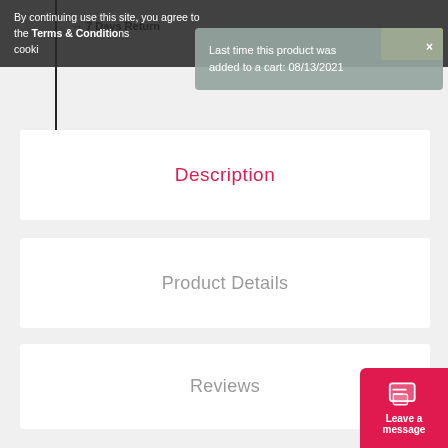By continuing use this site, you agree to the Terms & Conditions cookie
Last time this product was added to a cart: 08/13/2021
Description
Product Details
Reviews
Welcome the next generation of DuPont disposable Tyvek® safety clothing into your facility to protect your workers from head